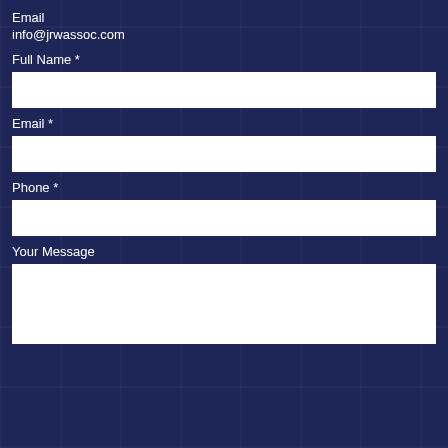Email
info@jrwassoc.com
Full Name *
Email *
Phone *
Your Message